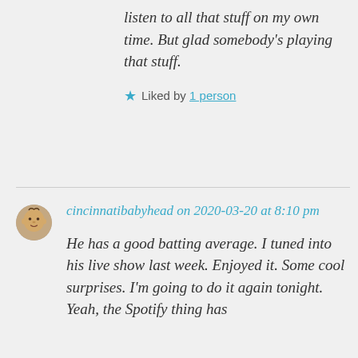listen to all that stuff on my own time. But glad somebody's playing that stuff.
Liked by 1 person
cincinnatibabyhead on 2020-03-20 at 8:10 pm
He has a good batting average. I tuned into his live show last week. Enjoyed it. Some cool surprises. I'm going to do it again tonight. Yeah, the Spotify thing has